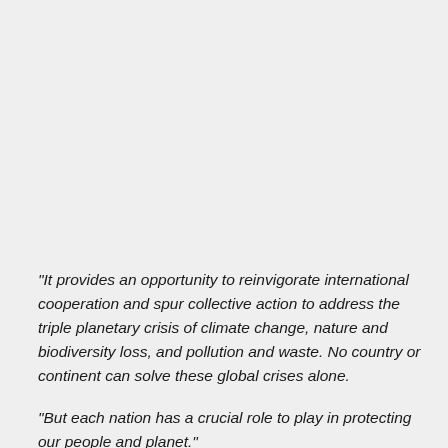"It provides an opportunity to reinvigorate international cooperation and spur collective action to address the triple planetary crisis of climate change, nature and biodiversity loss, and pollution and waste. No country or continent can solve these global crises alone.
"But each nation has a crucial role to play in protecting our people and planet."